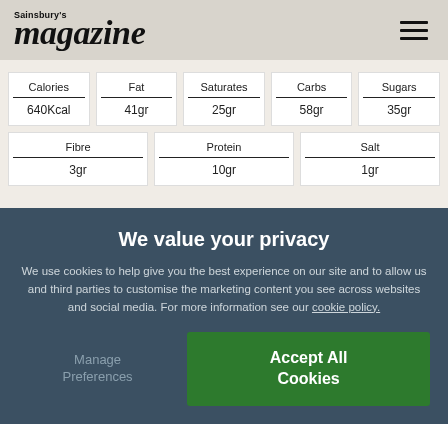Sainsbury's magazine
| Calories | Fat | Saturates | Carbs | Sugars |
| --- | --- | --- | --- | --- |
| 640Kcal | 41gr | 25gr | 58gr | 35gr |
| Fibre | Protein | Salt |
| --- | --- | --- |
| 3gr | 10gr | 1gr |
We value your privacy
We use cookies to help give you the best experience on our site and to allow us and third parties to customise the marketing content you see across websites and social media. For more information see our cookie policy.
Manage Preferences
Accept All Cookies